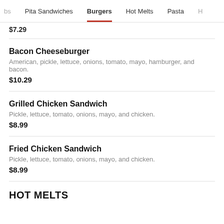bs  Pita Sandwiches  Burgers  Hot Melts  Pasta  H
$7.29
Bacon Cheeseburger
American, pickle, lettuce, onions, tomato, mayo, hamburger, and bacon.
$10.29
Grilled Chicken Sandwich
Pickle, lettuce, tomato, onions, mayo, and chicken.
$8.99
Fried Chicken Sandwich
Pickle, lettuce, tomato, onions, mayo, and chicken.
$8.99
HOT MELTS